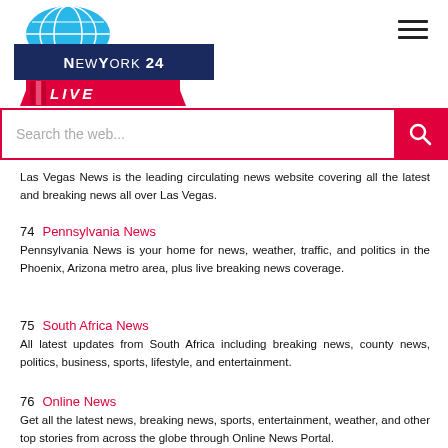[Figure (logo): NewYork 24 LIVE news logo with globe icon, dark blue banner and red LIVE badge]
Search the web...
Las Vegas News is the leading circulating news website covering all the latest and breaking news all over Las Vegas.
74  Pennsylvania News
Pennsylvania News is your home for news, weather, traffic, and politics in the Phoenix, Arizona metro area, plus live breaking news coverage.
75  South Africa News
All latest updates from South Africa including breaking news, county news, politics, business, sports, lifestyle, and entertainment.
76  Online News
Get all the latest news, breaking news, sports, entertainment, weather, and other top stories from across the globe through Online News Portal.